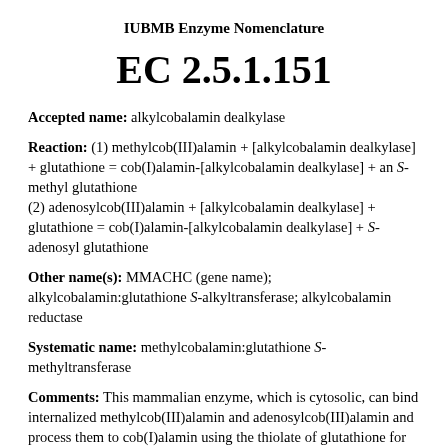IUBMB Enzyme Nomenclature
EC 2.5.1.151
Accepted name: alkylcobalamin dealkylase
Reaction: (1) methylcob(III)alamin + [alkylcobalamin dealkylase] + glutathione = cob(I)alamin-[alkylcobalamin dealkylase] + an S-methyl glutathione
(2) adenosylcob(III)alamin + [alkylcobalamin dealkylase] + glutathione = cob(I)alamin-[alkylcobalamin dealkylase] + S-adenosyl glutathione
Other name(s): MMACHC (gene name); alkylcobalamin:glutathione S-alkyltransferase; alkylcobalamin reductase
Systematic name: methylcobalamin:glutathione S-methyltransferase
Comments: This mammalian enzyme, which is cytosolic, can bind internalized methylcob(III)alamin and adenosylcob(III)alamin and process them to cob(I)alamin using the thiolate of glutathione for nucleophilic displacement. The product remains bound to the